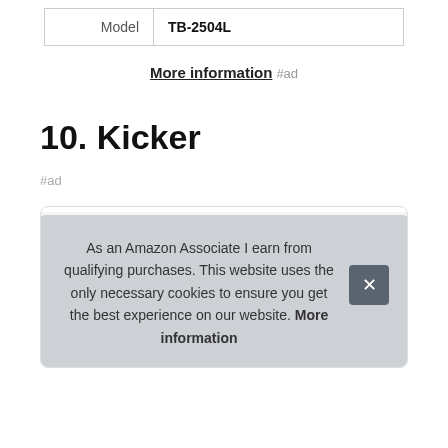| Model |
| --- |
| TB-2504L |
More information #ad
10. Kicker
#ad
As an Amazon Associate I earn from qualifying purchases. This website uses the only necessary cookies to ensure you get the best experience on our website. More information